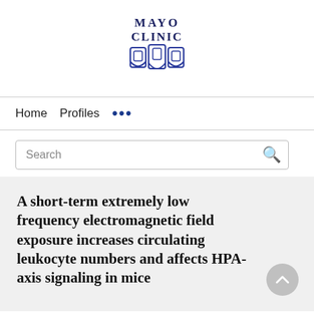[Figure (logo): Mayo Clinic logo with text 'MAYO CLINIC' above and a shield/chalice emblem below in dark blue]
Home   Profiles   ...
Search
A short-term extremely low frequency electromagnetic field exposure increases circulating leukocyte numbers and affects HPA-axis signaling in mice